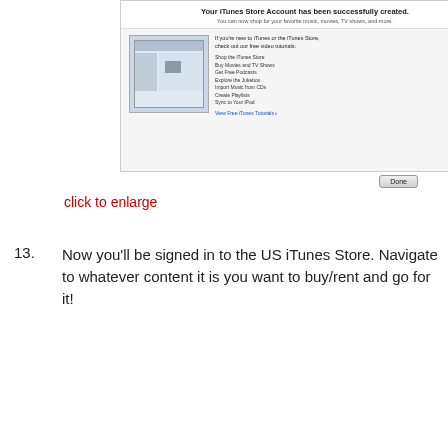[Figure (screenshot): Screenshot of iTunes Store account creation success dialog, with a thumbnail image of iTunes interface and text about free video tutorials. A Done button appears at bottom right.]
click to enlarge
13. Now you'll be signed in to the US iTunes Store. Navigate to whatever content it is you want to buy/rent and go for it!